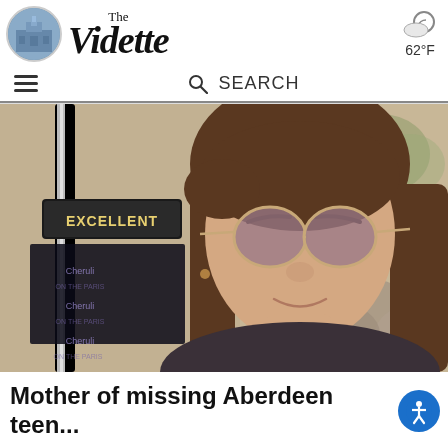The Vidette — 62°F weather, search bar
[Figure (photo): Young woman with brown hair and round tinted sunglasses smiling, with an 'EXCELLENT' trophy/award visible to her left, outdoors near stone wall and greenery]
Mother of missing Aberdeen teen...